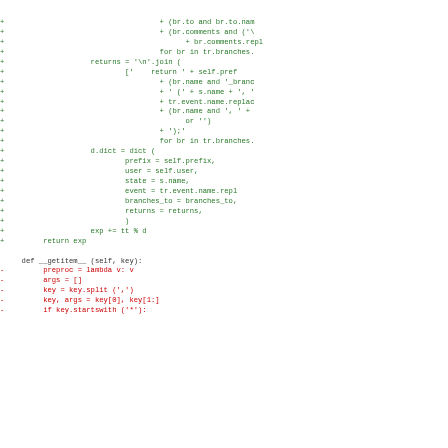[Figure (screenshot): Code diff view showing Python source code with added lines (green, prefixed with +) and removed lines (red, prefixed with -). Shows code for branch handling and a __getitem__ method.]